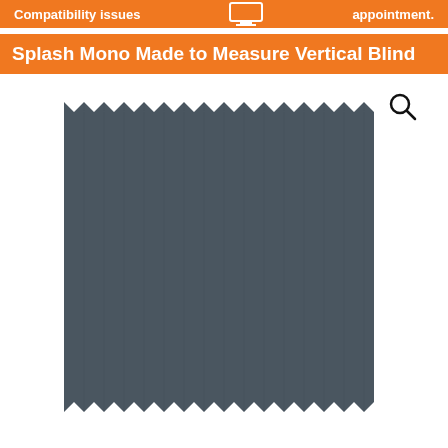Compatibility issues   [monitor icon]   appointment.
Splash Mono Made to Measure Vertical Blind
[Figure (photo): A dark grey/charcoal fabric swatch with zigzag/pinked edges on all four sides, showing a subtle vertical texture pattern. A magnifying glass icon is visible in the upper right area of the image.]